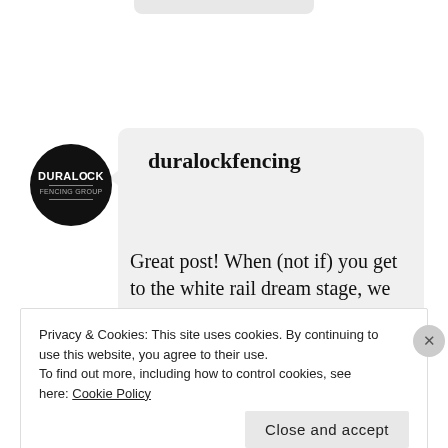[Figure (screenshot): Duralock fencing social media comment with circular black logo avatar, username 'duralockfencing' in bold serif font, and partial comment text reading 'Great post! When (not if) you get to the white rail dream stage, we will be']
Privacy & Cookies: This site uses cookies. By continuing to use this website, you agree to their use.
To find out more, including how to control cookies, see here: Cookie Policy
Close and accept